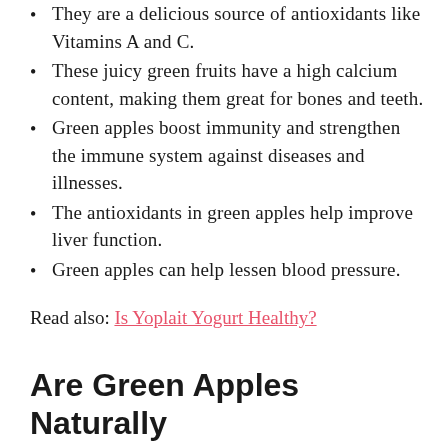They are a delicious source of antioxidants like Vitamins A and C.
These juicy green fruits have a high calcium content, making them great for bones and teeth.
Green apples boost immunity and strengthen the immune system against diseases and illnesses.
The antioxidants in green apples help improve liver function.
Green apples can help lessen blood pressure.
Read also: Is Yoplait Yogurt Healthy?
Are Green Apples Naturally Sour?